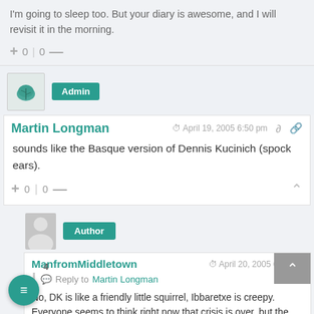I'm going to sleep too.  But your diary is awesome, and I will revisit it in the morning.
+ 0 | 0 —
Admin
Martin Longman  April 19, 2005 6:50 pm
sounds like the Basque version of Dennis Kucinich (spock ears).
+ 0 | 0 —
Author
ManfromMiddletown  April 20, 2005 6:36 pm
Reply to  Martin Longman
No, DK is like a friendly little squirrel, Ibbaretxe is creepy.  Everyone seems to think right now that crisis is over, but the socialists are refusing to pact with Ibbarretxe's nationalists.  There's little hope that the conservative PP will pact with the socialists.  The only coallition that looks like a possiblity is